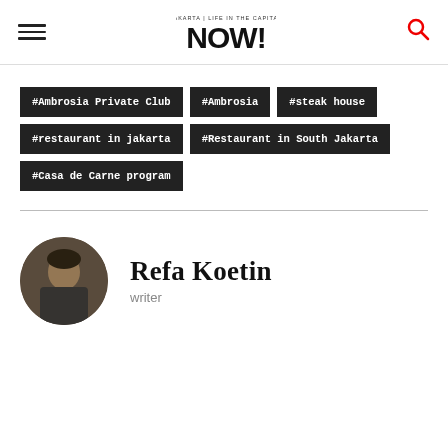Jakarta NOW! - Life in the capital
#Ambrosia Private Club
#Ambrosia
#steak house
#restaurant in jakarta
#Restaurant in South Jakarta
#Casa de Carne program
Refa Koetin
writer